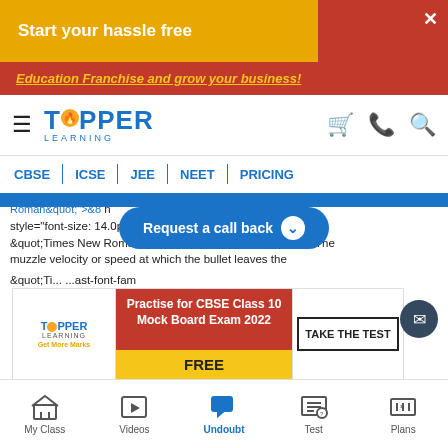[Figure (screenshot): Top advertisement banner with yellow/gold background, 'Start your hassle free' text with arrow shape, red section and close X button]
TOPPER LEARNING — navigation bar with hamburger menu, logo, cart, phone and search icons
CBSE | ICSE | JEE | NEET | PRICING
Request a call back
Roman&quot;">&8 n style="font-size: 14.0pt; line-height: 115%; font-family: &quot;Times New Roman&quot;,&quot;serif&quot;">&ldquo;The muzzle velocity or speed at which the bullet leaves the rifle&rdquo;, he told us, &ldquo;is well over two thousand feet per second.&rdquo;</span></p> <p class="MsoListParagraphCxSpMiddle" style="margin-left: .75in; mso-add-space: auto; text-indent: -.25in; mso-list: l1 level1 lfo3;"> <span style="font-size: 14.0pt; line-height: 115%; font-family: &quot;Ti... ...ast-font-fam
[Figure (screenshot): Topper Learning ad banner: Practise for CBSE Class 10 Mock Board Exam 2022, FREE, TAKE THE TEST button]
My Class | Videos | Undoubt | Test | Plans